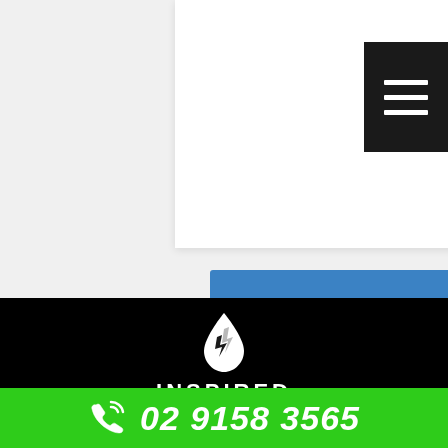[Figure (screenshot): White card UI element in upper portion of page]
[Figure (other): Black hamburger menu button icon with three white horizontal lines]
Review us on Google Today
[Figure (logo): Inspired Plumbing logo - white droplet/flame icon above text INSPIRED PLUMBING on black background]
02 9158 3565